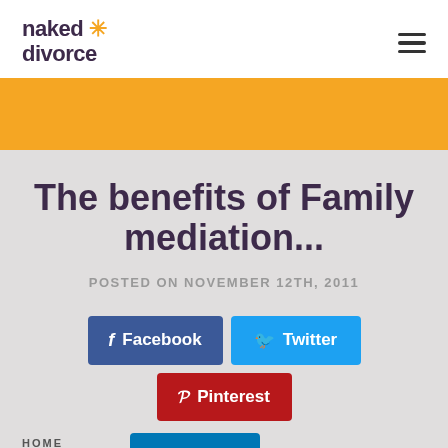naked divorce
[Figure (illustration): Orange decorative bar banner]
The benefits of Family mediation...
POSTED ON NOVEMBER 12TH, 2011
[Figure (infographic): Social sharing buttons: Facebook, Twitter, Pinterest, LinkedIn]
HOME
SERVICES
Schedule time with us